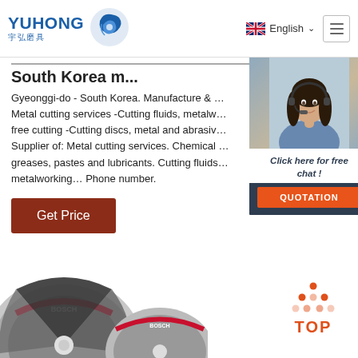[Figure (logo): Yuhong logo with blue wave icon and Chinese characters 宇弘磨具]
English
South Korea m...
Gyeonggi-do - South Korea. Manufacture & ... Metal cutting services -Cutting fluids, metalw... free cutting -Cutting discs, metal and abrasiv... Supplier of: Metal cutting services. Chemical ... greases, pastes and lubricants. Cutting fluids... metalworking... Phone number.
[Figure (screenshot): 24/7 Online chat widget with woman wearing headset, 'Click here for free chat!' text, and orange QUOTATION button]
Get Price
[Figure (illustration): TOP button with orange dots arranged in triangle above the word TOP]
[Figure (photo): Bosch cutting discs at bottom of page]